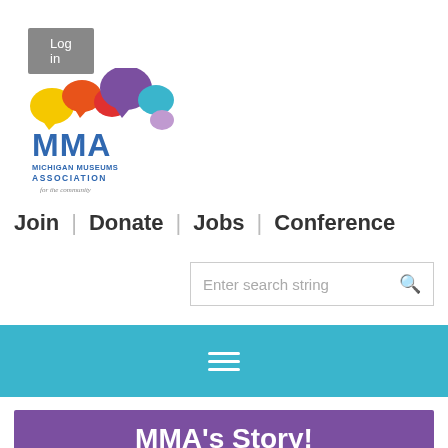Log in
[Figure (logo): Michigan Museums Association (MMA) logo with colorful speech bubbles and blue text]
Join | Donate | Jobs | Conference
Enter search string
☰ (hamburger menu on teal bar)
MMA's Story!